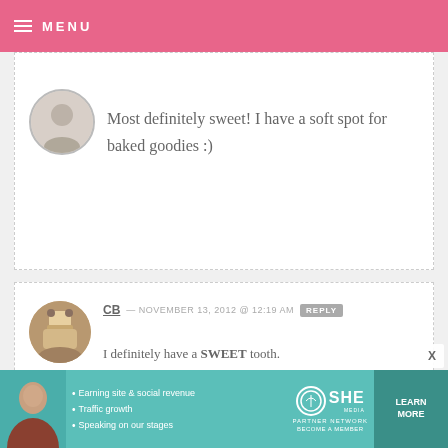MENU
Most definitely sweet! I have a soft spot for baked goodies :)
CB — NOVEMBER 13, 2012 @ 12:19 AM REPLY
I definitely have a SWEET tooth.

Fun giveaway. I hope I win!
SHARLA — NOVEMBER 13, 2012 @ 12:19 AM REPLY
Sweet for me, please!
[Figure (infographic): SHE Partner Network advertisement banner with photo of woman, bullet points about earning site and social revenue, traffic growth, speaking on stages, SHE logo, and Learn More button]